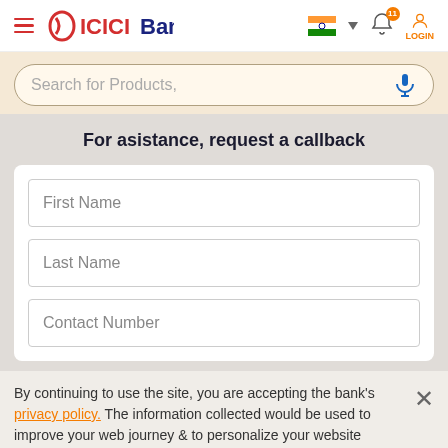[Figure (logo): ICICI Bank logo with hamburger menu icon on the left and navigation icons (India flag, bell with badge 11, login) on the right]
[Figure (screenshot): Search bar with placeholder text 'Search for Products,' and microphone icon on cream background]
For asistance, request a callback
First Name
Last Name
Contact Number
By continuing to use the site, you are accepting the bank's privacy policy. The information collected would be used to improve your web journey & to personalize your website experience.